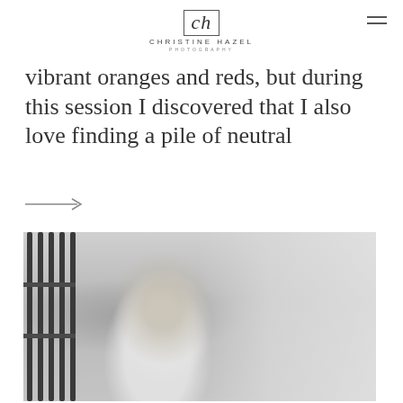Christine Hazel Photography
vibrant oranges and reds, but during this session I discovered that I also love finding a pile of neutral
[Figure (illustration): Right-pointing arrow (→)]
[Figure (photo): Black and white portrait photo of a young woman with long hair, smiling and leaning against metal fence/railing bars, with blurred background]